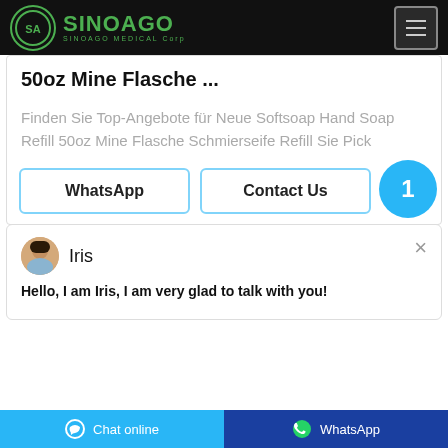[Figure (logo): SinoAgo Medical Corp logo with green circle SA emblem and green text on black navigation bar]
50oz Mine Flasche ...
Finden Sie Top-Angebote für Neue Softsoap Hand Soap Refill 50oz Mine Flasche Schmierseife Refill Sie Pick
[Figure (screenshot): Chat popup with Iris avatar showing message: Hello, I am Iris, I am very glad to talk with you!]
Hello, I am Iris, I am very glad to talk with you!
WhatsApp
Contact Us
Chat online   WhatsApp